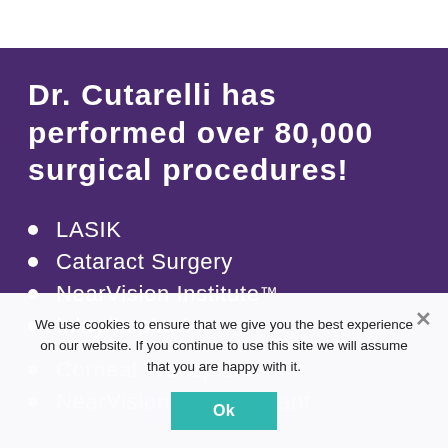Dr. Cutarelli has performed over 80,000 surgical procedures!
LASIK
Cataract Surgery
NearVision Institute™
Inlay/Implant
Corneal Transplant
NearVision Lens Implant
We use cookies to ensure that we give you the best experience on our website. If you continue to use this site we will assume that you are happy with it.